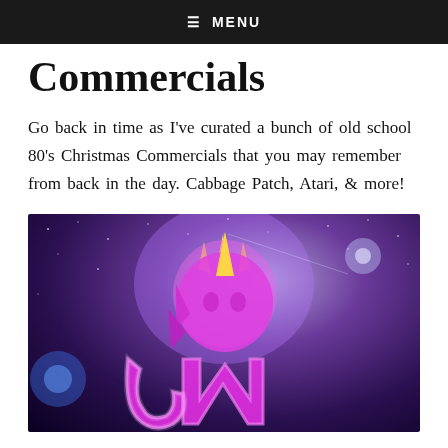≡ MENU
Commercials
Go back in time as I've curated a bunch of old school 80's Christmas Commercials that you may remember from back in the day. Cabbage Patch, Atari, & more!
[Figure (illustration): A glowing pink/magenta stylized unicorn logo (Jem) set against a dark purple space background with stars, lens flares, and a blue orb on the lower left.]